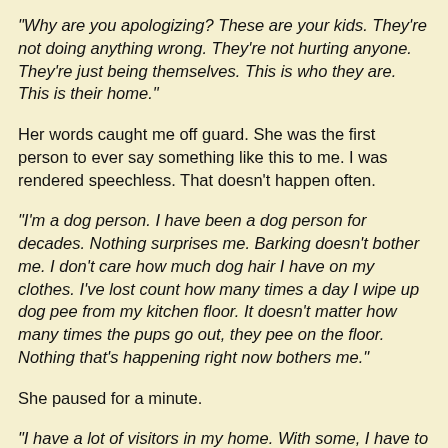"Why are you apologizing? These are your kids. They're not doing anything wrong. They're not hurting anyone. They're just being themselves. This is who they are. This is their home."
Her words caught me off guard. She was the first person to ever say something like this to me. I was rendered speechless. That doesn't happen often.
"I'm a dog person. I have been a dog person for decades. Nothing surprises me. Barking doesn't bother me. I don't care how much dog hair I have on my clothes. I've lost count how many times a day I wipe up dog pee from my kitchen floor. It doesn't matter how many times the pups go out, they pee on the floor. Nothing that's happening right now bothers me."
She paused for a minute.
"I have a lot of visitors in my home. With some, I have to gate the large dogs. My small pup is usually crated because he likes to poo on people's shoes. With other guests, I don't